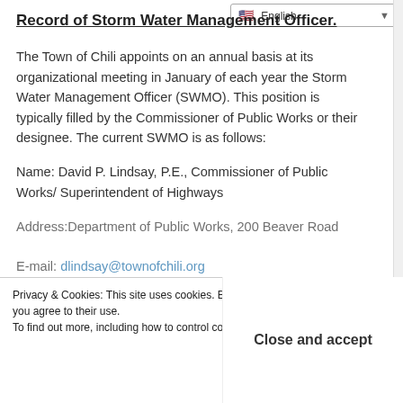English (language selector bar)
Record of Storm Water Management Officer.
The Town of Chili appoints on an annual basis at its organizational meeting in January of each year the Storm Water Management Officer (SWMO). This position is typically filled by the Commissioner of Public Works or their designee. The current SWMO is as follows:
Name: David P. Lindsay, P.E., Commissioner of Public Works/ Superintendent of Highways
Address:Department of Public Works, 200 Beaver Road
E-mail: dlindsay@townofchili.org
Privacy & Cookies: This site uses cookies. By continuing to use this website, you agree to their use. To find out more, including how to control cookies, see here: Cookie Policy. Close and accept